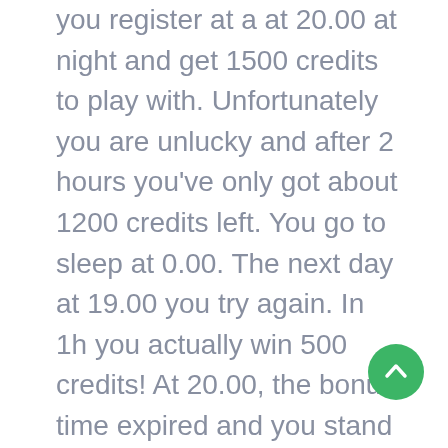you register at a at 20.00 at night and get 1500 credits to play with. Unfortunately you are unlucky and after 2 hours you've only got about 1200 credits left. You go to sleep at 0.00. The next day at 19.00 you try again. In 1h you actually win 500 credits! At 20.00, the bonus time expired and you stand at a profit of 200 credits. You have thus earned the maximum bonus of $ 100. Once you've made a deposit (min. $ 20), the bonus dollars are placed on your account. This bonus amount you have won at Platinum Casino has to be wagered 30x before you can pay out. This goes for 30x slots. Blackjack and Roulette count for a smaller percentage for the wager. More information about the specific conditions of Platinum Casino can be found in the